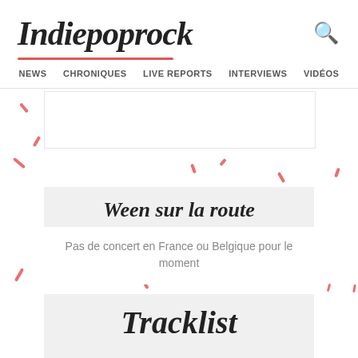Indiepoprock
NEWS  CHRONIQUES  LIVE REPORTS  INTERVIEWS  VIDÉOS
Ween sur la route
Pas de concert en France ou Belgique pour le moment
Tracklist